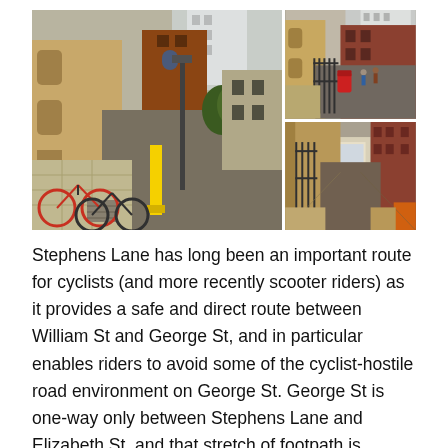[Figure (photo): Three street-level photos of Stephens Lane showing a narrow urban lane with brick buildings, parked bicycles, a yellow bollard, and pedestrians. Left photo is large showing the lane with bikes and a yellow bollard in foreground. Top right shows the lane with a red post box and iron fence. Bottom right shows a long narrow lane looking down toward the end.]
Stephens Lane has long been an important route for cyclists (and more recently scooter riders) as it provides a safe and direct route between William St and George St, and in particular enables riders to avoid some of the cyclist-hostile road environment on George St. George St is one-way only between Stephens Lane and Elizabeth St, and that stretch of footpath is compromised by the carpark